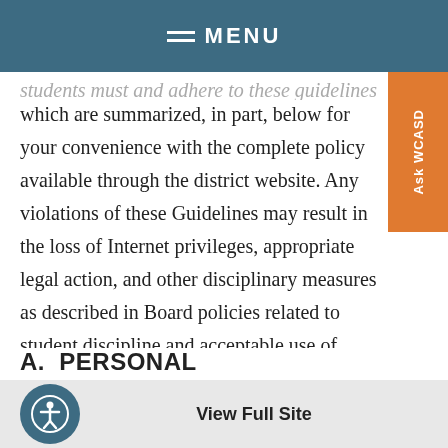MENU
which are summarized, in part, below for your convenience with the complete policy available through the district website. Any violations of these Guidelines may result in the loss of Internet privileges, appropriate legal action, and other disciplinary measures as described in Board policies related to student discipline and acceptable use of technology.
A.  PERSONAL RESPONSIBILITY
View Full Site